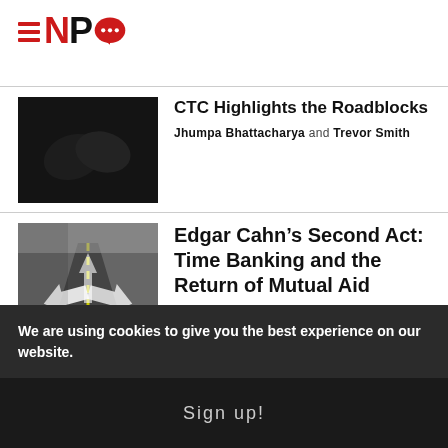[Figure (logo): NPQ logo with hamburger menu icon, red speech bubble with dots]
[Figure (photo): Dark photo of clasped hands]
CTC Highlights the Roadblocks
Jhumpa Bhattacharya and Trevor Smith
[Figure (photo): Street with directional arrows painted on road]
Edgar Cahn’s Second Act: Time Banking and the Return of Mutual Aid
Steve Dubb
[Figure (photo): Photo of holding hands]
We Owe You Nothing: The
We are using cookies to give you the best experience on our website.
Sign up!